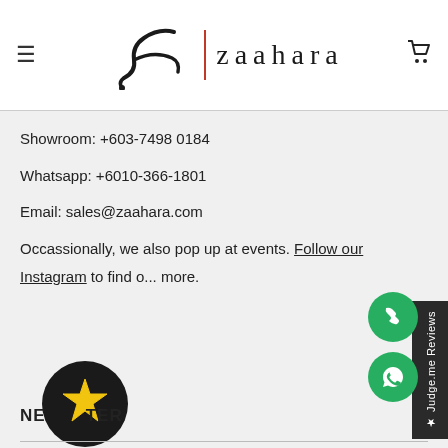[Figure (logo): Zaahara brand logo with stylized Z graphic, red vertical divider, and serif text 'zaahara']
Showroom: +603-7498 0184
Whatsapp: +6010-366-1801
Email: sales@zaahara.com
Occassionally, we also pop up at events. Follow our Instagram to find out more.
NEWSLETTER
Join to get special offers, free giveaways, and once-in-a-lifetime d...